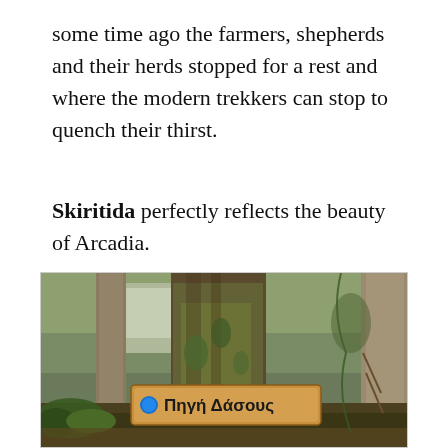some time ago the farmers, shepherds and their herds stopped for a rest and where the modern trekkers can stop to quench their thirst.
Skiritida perfectly reflects the beauty of Arcadia.
[Figure (photo): A forest scene with a large moss-covered tree trunk. A wooden sign is attached to the tree reading 'Πηγή Δάσους' (Forest Spring) with a blue circle dot marker. The background shows dense forest vegetation and a hillside.]